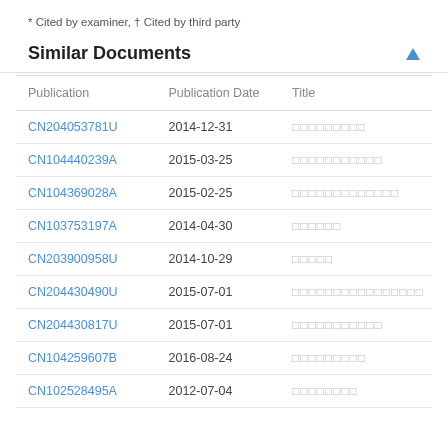* Cited by examiner, † Cited by third party
Similar Documents
| Publication | Publication Date | Title |
| --- | --- | --- |
| CN204053781U | 2014-12-31 | □□□□□□□□□ |
| CN104440239A | 2015-03-25 | □□□□□□□□□□□ |
| CN104369028A | 2015-02-25 | □□□□□□□□□□□□□ |
| CN103753197A | 2014-04-30 | □□□□□□ |
| CN203900958U | 2014-10-29 | □□□□□ |
| CN204430490U | 2015-07-01 | □□□□□□□□□□□□□□□□ |
| CN204430817U | 2015-07-01 | □□□□□□□□□□□ |
| CN104259607B | 2016-08-24 | □□□□□□□□□ |
| CN102528495A | 2012-07-04 | □□□□□□□□ |